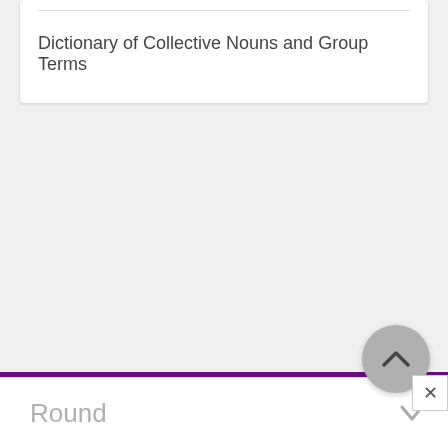Dictionary of Collective Nouns and Group Terms
Round